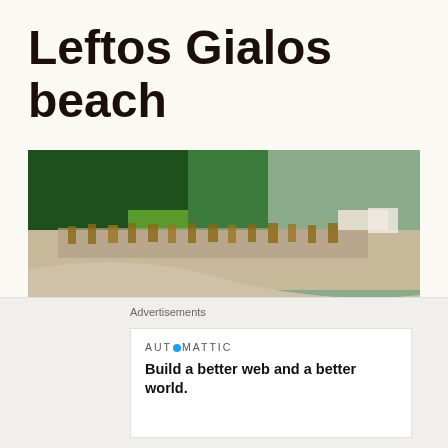Leftos Gialos beach
[Figure (photo): Aerial view of Leftos Gialos beach showing a curved pebbly shoreline with beach umbrellas and loungers, surrounded by clear turquoise-green water and dense green forest in the background.]
A bit of a grey day on Alonnisos as we visit Leftos...
Advertisements
AUTOMATTIC
Build a better web and a better world.